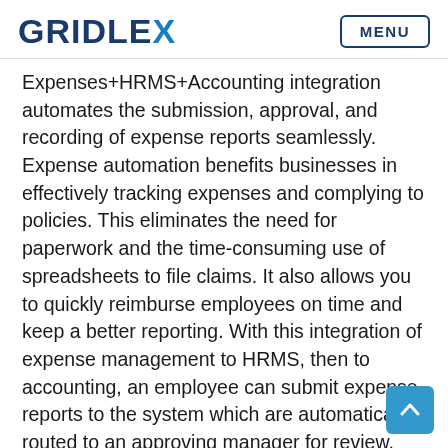GRIDLEX | MENU
Expenses+HRMS+Accounting integration automates the submission, approval, and recording of expense reports seamlessly. Expense automation benefits businesses in effectively tracking expenses and complying to policies. This eliminates the need for paperwork and the time-consuming use of spreadsheets to file claims. It also allows you to quickly reimburse employees on time and keep a better reporting. With this integration of expense management to HRMS, then to accounting, an employee can submit expense reports to the system which are automatically routed to an approving manager for review, and for the compliance check. Once it is approved, the report is then routed to his payroll for final approval and processing, then to the finance team for employee cos allocation that helps with better reporting of the